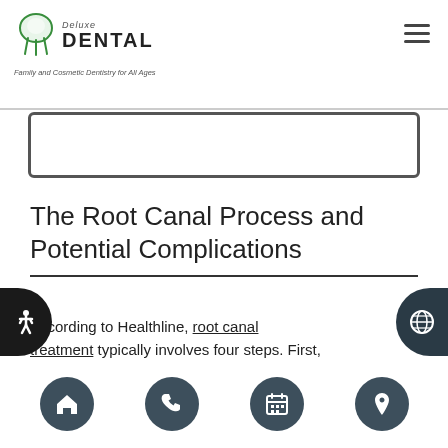Deluxe DENTAL – Family and Cosmetic Dentistry for All Ages
[Figure (screenshot): Search bar / card element below header]
The Root Canal Process and Potential Complications
According to Healthline, root canal treatment typically involves four steps. First, we will take an X-ray of the infected tooth and numb the treatment site. Next, we will place a dental dam, or small protective sheet, over the area to protect the spot from saliva
Navigation bar with home, phone, calendar, and location icons